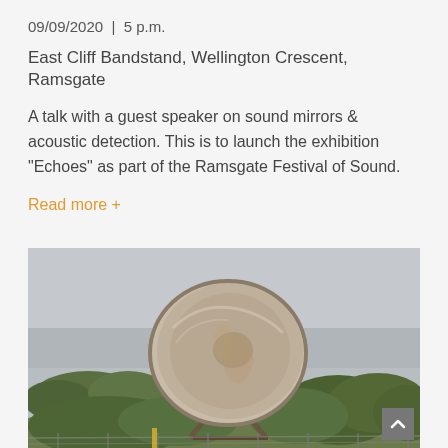09/09/2020  |  5 p.m.
East Cliff Bandstand, Wellington Crescent, Ramsgate
A talk with a guest speaker on sound mirrors & acoustic detection. This is to launch the exhibition "Echoes" as part of the Ramsgate Festival of Sound.
Read more +
[Figure (photo): A large concrete parabolic sound mirror dish mounted on a metal frame, surrounded by green trees and bushes, photographed against an overcast grey sky. A chain-link fence is visible in the foreground.]